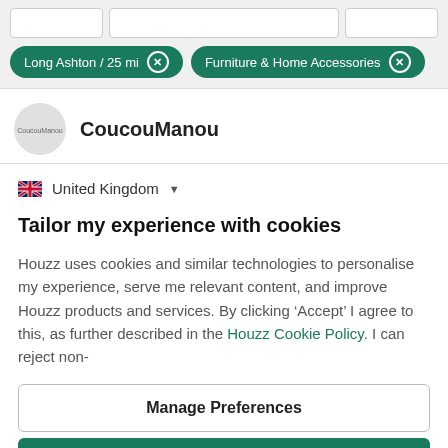[Figure (screenshot): Filter tag: Long Ashton / 25 mi with X button]
[Figure (screenshot): Filter tag: Furniture & Home Accessories with X button]
CoucouManou
United Kingdom
Tailor my experience with cookies
Houzz uses cookies and similar technologies to personalise my experience, serve me relevant content, and improve Houzz products and services. By clicking ‘Accept’ I agree to this, as further described in the Houzz Cookie Policy. I can reject non-
Manage Preferences
Accept